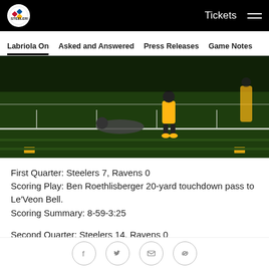Tickets ☰
Labriola On | Asked and Answered | Press Releases | Game Notes
[Figure (photo): Football game action photo showing players on green field, one player in yellow/black Steelers uniform standing over another player on the ground]
First Quarter: Steelers 7, Ravens 0
Scoring Play: Ben Roethlisberger 20-yard touchdown pass to Le'Veon Bell.
Scoring Summary: 8-59-3:25
Second Quarter: Steelers 14, Ravens 0
Scoring Play: Le'Veon Bell one-yard touchdown run.
Scoring Summary: 12-90-6:10